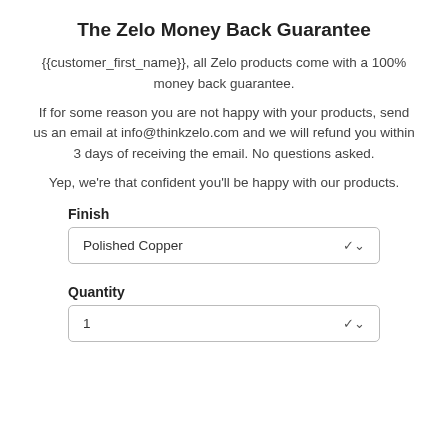The Zelo Money Back Guarantee
{{customer_first_name}}, all Zelo products come with a 100% money back guarantee.
If for some reason you are not happy with your products, send us an email at info@thinkzelo.com and we will refund you within 3 days of receiving the email. No questions asked.
Yep, we’re that confident you’ll be happy with our products.
Finish
Polished Copper
Quantity
1